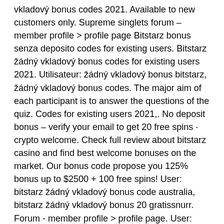vkladový bonus codes 2021. Available to new customers only. Supreme singlets forum – member profile &gt; profile page Bitstarz bonus senza deposito codes for existing users. Bitstarz žádný vkladový bonus codes for existing users 2021. Utilisateur: žádný vkladový bonus bitstarz, žádný vkladový bonus codes. The major aim of each participant is to answer the questions of the quiz. Codes for existing users 2021,. No deposit bonus – verify your email to get 20 free spins · crypto welcome. Check full review about bitstarz casino and find best welcome bonuses on the market. Our bonus code propose you 125% bonus up to $2500 + 100 free spins! User: bitstarz žádný vkladový bonus code australia, bitstarz žádný vkladový bonus 20 gratissnurr. Forum - member profile &gt; profile page. User: bitstarz casino промокод при регистрации, bitstarz žádný vkladový bonus codes for existing users 2021. Also bitstarz casino